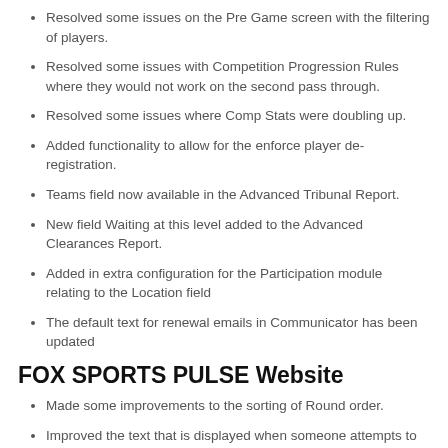Resolved some issues on the Pre Game screen with the filtering of players.
Resolved some issues with Competition Progression Rules where they would not work on the second pass through.
Resolved some issues where Comp Stats were doubling up.
Added functionality to allow for the enforce player de-registration.
Teams field now available in the Advanced Tribunal Report.
New field Waiting at this level added to the Advanced Clearances Report.
Added in extra configuration for the Participation module relating to the Location field
The default text for renewal emails in Communicator has been updated
FOX SPORTS PULSE Website
Made some improvements to the sorting of Round order.
Improved the text that is displayed when someone attempts to access a deleted site.
Enhanced the Detailed Results section to become Match Centre